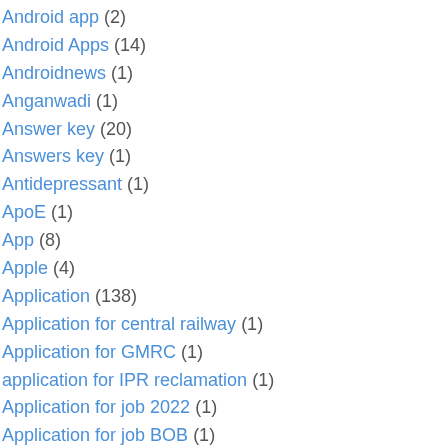Android app (2)
Android Apps (14)
Androidnews (1)
Anganwadi (1)
Answer key (20)
Answers key (1)
Antidepressant (1)
ApoE (1)
App (8)
Apple (4)
Application (138)
Application for central railway (1)
Application for GMRC (1)
application for IPR reclamation (1)
Application for job 2022 (1)
Application for job BOB (1)
Application for teachers job (1)
Application link (1)
Applications (138)